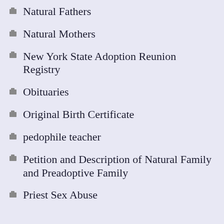Natural Fathers
Natural Mothers
New York State Adoption Reunion Registry
Obituaries
Original Birth Certificate
pedophile teacher
Petition and Description of Natural Family and Preadoptive Family
Priest Sex Abuse